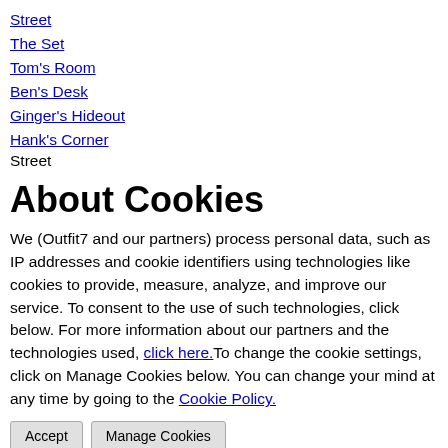Street
The Set
Tom's Room
Ben's Desk
Ginger's Hideout
Hank's Corner
Street
About Cookies
We (Outfit7 and our partners) process personal data, such as IP addresses and cookie identifiers using technologies like cookies to provide, measure, analyze, and improve our service. To consent to the use of such technologies, click below. For more information about our partners and the technologies used, click here.To change the cookie settings, click on Manage Cookies below. You can change your mind at any time by going to the Cookie Policy.
Accept   Manage Cookies
Manage Cookies